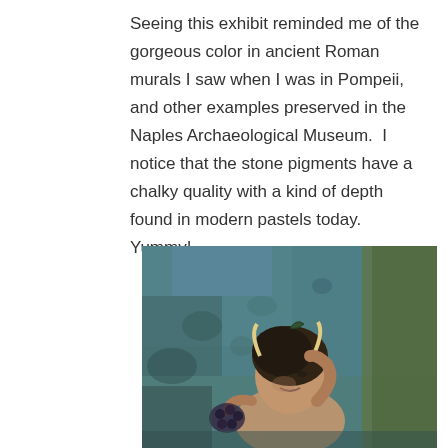Seeing this exhibit reminded me of the gorgeous color in ancient Roman murals I saw when I was in Pompeii, and other examples preserved in the Naples Archaeological Museum.  I notice that the stone pigments have a chalky quality with a kind of depth found in modern pastels today.  Yummy!
[Figure (photo): Ancient Roman fresco or mural painting showing a figure with horns and dark hair against a blue-green and teal background, reminiscent of Pompeii wall paintings. The figure appears mythological, with a snake visible in the hair.]